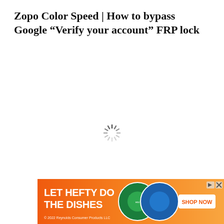Zopo Color Speed | How to bypass Google “Verify your account” FRP lock
[Figure (other): Loading spinner (circular dashed spinner icon) centered on the page]
[Figure (other): Advertisement banner with orange gradient background reading 'LET HEFTY DO THE DISHES' with product images and 'SHOP NOW' button. Copyright 2022 Reynolds Consumer Products LLC.]